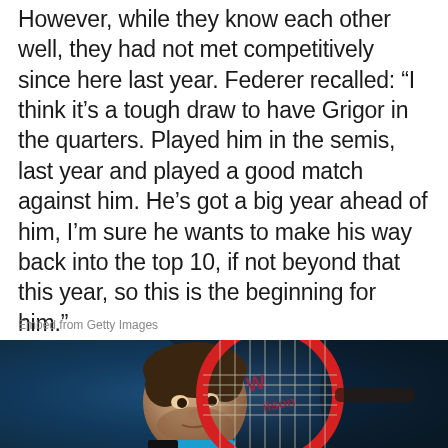However, while they know each other well, they had not met competitively since here last year. Federer recalled: “I think it’s a tough draw to have Grigor in the quarters. Played him in the semis, last year and played a good match against him. He’s got a big year ahead of him, I’m sure he wants to make his way back into the top 10, if not beyond that this year, so this is the beginning for him.”
Embed from Getty Images
[Figure (photo): A tennis player peering over a Wilson tennis racket, close-up action shot with dark blue background]